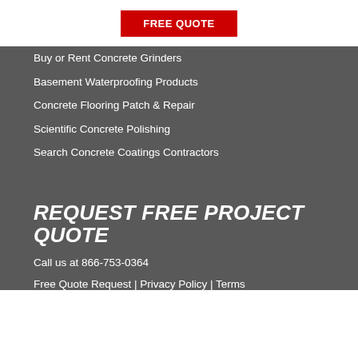FREE QUOTE
Buy or Rent Concrete Grinders
Basement Waterproofing Products
Concrete Flooring Patch & Repair
Scientific Concrete Polishing
Search Concrete Coatings Contractors
REQUEST FREE PROJECT QUOTE
Call us at 866-753-0364
Free Quote Request | Privacy Policy | Terms